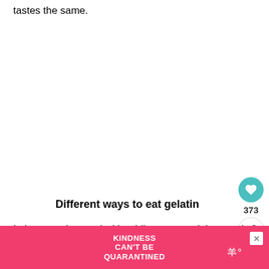tastes the same.
Different ways to eat gelatin
I also experimented with adding my own juices and flav ... of recipe, so ... to cup
[Figure (other): Pink advertisement banner: KINDNESS CAN'T BE QUARANTINED with a close (X) button and a logo icon on the right.]